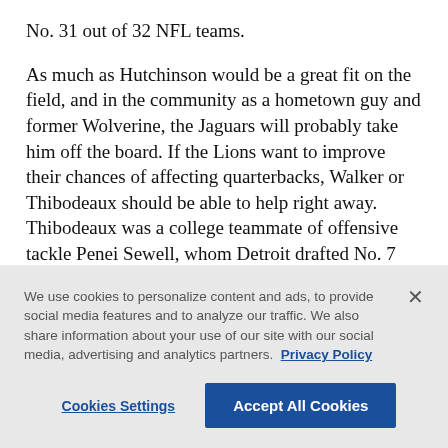No. 31 out of 32 NFL teams.
As much as Hutchinson would be a great fit on the field, and in the community as a hometown guy and former Wolverine, the Jaguars will probably take him off the board. If the Lions want to improve their chances of affecting quarterbacks, Walker or Thibodeaux should be able to help right away. Thibodeaux was a college teammate of offensive tackle Penei Sewell, whom Detroit drafted No. 7 overall last year.
We use cookies to personalize content and ads, to provide social media features and to analyze our traffic. We also share information about your use of our site with our social media, advertising and analytics partners. Privacy Policy
Cookies Settings | Accept All Cookies